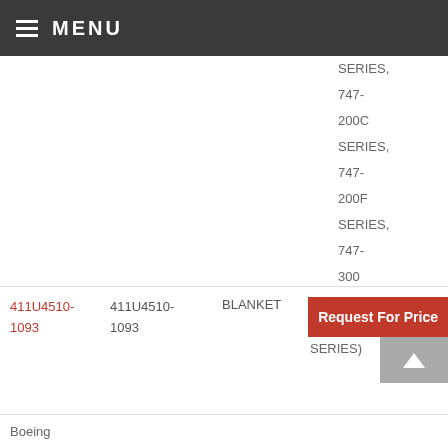MENU
SERIES, 747-200C SERIES, 747-200F SERIES, 747-300 SERIES)
| 411U4510-1093 | 411U4510-1093 | BLANKET | Boeing (747SR SERIES) |
Boeing